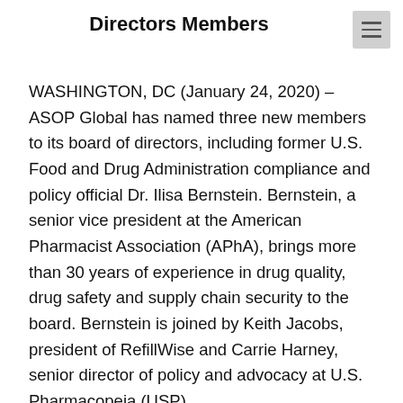Directors Members
WASHINGTON, DC (January 24, 2020) – ASOP Global has named three new members to its board of directors, including former U.S. Food and Drug Administration compliance and policy official Dr. Ilisa Bernstein. Bernstein, a senior vice president at the American Pharmacist Association (APhA), brings more than 30 years of experience in drug quality, drug safety and supply chain security to the board. Bernstein is joined by Keith Jacobs, president of RefillWise and Carrie Harney, senior director of policy and advocacy at U.S. Pharmacopeia (USP).